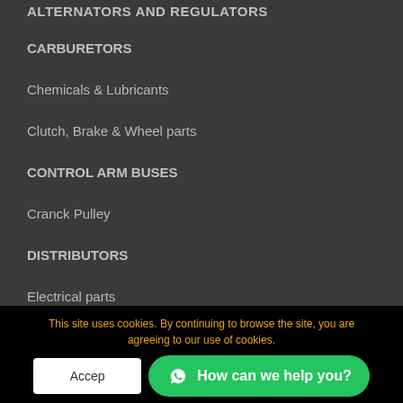ALTERNATORS AND REGULATORS (partial, cut off at top)
CARBURETORS
Chemicals & Lubricants
Clutch, Brake & Wheel parts
CONTROL ARM BUSES
Cranck Pulley
DISTRIBUTORS
Electrical parts
Engine & Timing parts
Fuel filters
FUEL PUMPS (partial, cut off at bottom)
This site uses cookies. By continuing to browse the site, you are agreeing to our use of cookies.
Accept | How can we help you?